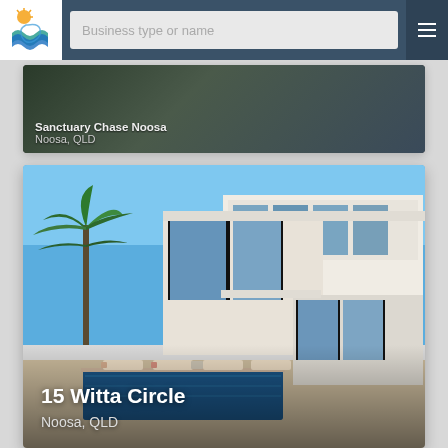[Figure (screenshot): Website navigation bar with colorful beach/sun logo, search input placeholder 'Business type or name', and hamburger menu icon on dark blue/slate background]
[Figure (photo): Partial property listing card showing 'Sanctuary Chase Noosa' with text 'Noosa, QLD' on a dark image background, partially visible at top]
[Figure (photo): Property listing card for '15 Witta Circle, Noosa, QLD' showing a modern luxury home with pool, lounge chairs, glass walls, and tropical palm trees with blue sky]
15 Witta Circle
Noosa, QLD
[Figure (photo): Partially visible card at bottom showing the word 'LEAD' in large decorative text against a blue sky background]